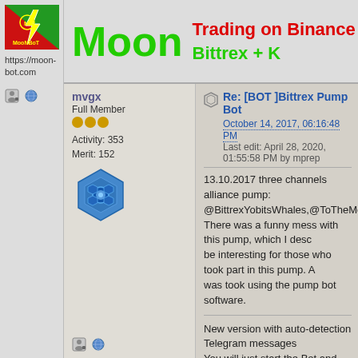[Figure (logo): MoonBot logo on red/green background]
https://moon-bot.com
Moon
Trading on Binance
Bittrex + K
mvgx
Full Member
Activity: 353
Merit: 152
[Figure (illustration): Blue hexagon avatar icon]
Re: [BOT ]Bittrex Pump Bot
October 14, 2017, 06:16:48 PM
Last edit: April 28, 2020, 01:55:58 PM by mprep
13.10.2017 three channels alliance pump:
@BittrexYobitsWhales,@ToTheMoon,@BittrexYobitP
There was a funny mess with this pump, which I desc
be interesting for those who took part in this pump. A
was took using the pump bot software.
New version with auto-detection Telegram messages
You will just start the Bot and watch how it reads from
a channel post and buys the coin, all in auto mode.
Those who buy PRO version now will have early acc